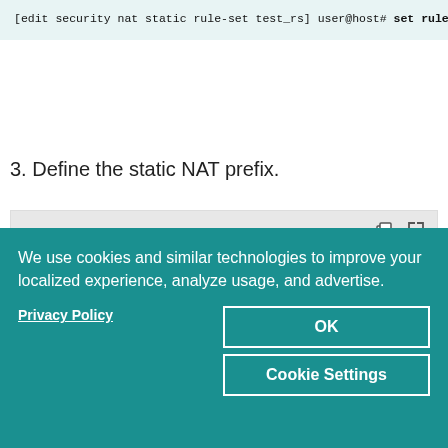[Figure (screenshot): Code block showing: [edit security nat static rule-set test_rs] and user@host# set rule test_rule match destination-address 10.1.1]
3. Define the static NAT prefix.
[Figure (screenshot): Code block with toolbar showing: [edit security nat static rule-set test_rs] and user@host# set rule test_rule then static-nat prefix 2001:db8:]
We use cookies and similar technologies to improve your localized experience, analyze usage, and advertise.
Privacy Policy
OK
Cookie Settings